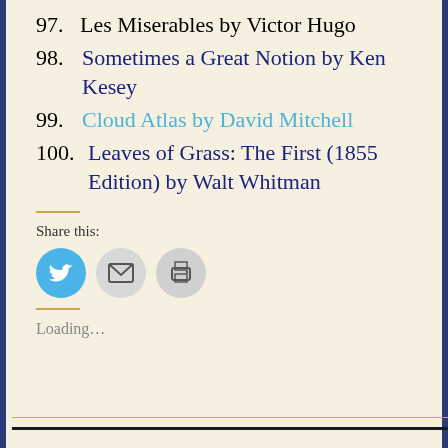97. Les Miserables by Victor Hugo
98. Sometimes a Great Notion by Ken Kesey
99. Cloud Atlas by David Mitchell
100. Leaves of Grass: The First (1855 Edition) by Walt Whitman
Share this:
[Figure (infographic): Three circular social share buttons: Twitter (blue with bird icon), Email (grey with envelope icon), Print (grey with printer icon)]
Loading...